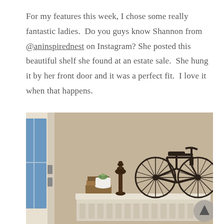For my features this week, I chose some really fantastic ladies.  Do you guys know Shannon from @aninspirednest on Instagram? She posted this beautiful shelf she found at an estate sale.  She hung it by her front door and it was a perfect fit.  I love it when that happens.
[Figure (photo): Interior photo showing a decorative white distressed shelf mounted near a front door with a window. On the shelf sit stacked books, a white pot with a small succulent, a dark wood finial, and a large dark metal bicycle wall art piece. The wall behind is a warm beige/tan. Bottom right corner has a circular scroll-up button.]